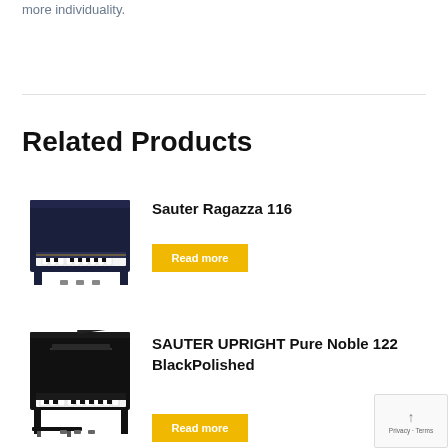more individuality.
Related Products
[Figure (photo): Sauter Ragazza 116 upright piano, dark navy/black finish]
Sauter Ragazza 116
Read more
[Figure (photo): SAUTER UPRIGHT Pure Noble 122 BlackPolished upright piano with bench, black polished finish]
SAUTER UPRIGHT Pure Noble 122 BlackPolished
Read more